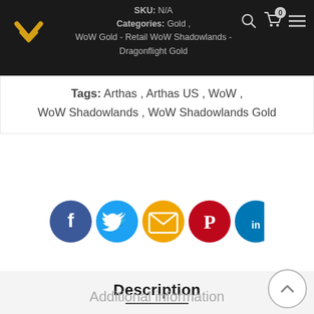SKU: N/A | Categories: Gold, WoW Gold - Retail WoW Shadowlands - Dragonflight Gold
Tags: Arthas, Arthas US, WoW, WoW Shadowlands, WoW Shadowlands Gold
[Figure (infographic): Social share icons row: Facebook (dark blue), Twitter (cyan), Email (orange), Pinterest (red/crimson), LinkedIn (teal/blue)]
Description
Additional information